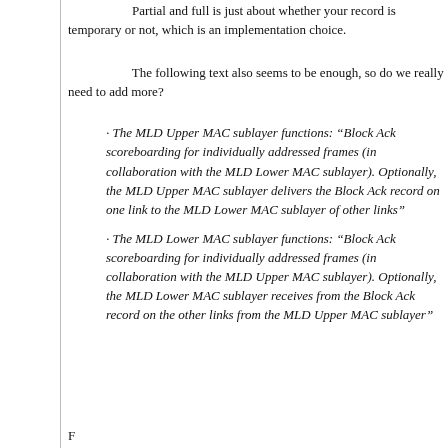Partial and full is just about whether your record is temporary or not, which is an implementation choice.
The following text also seems to be enough, so do we really need to add more?
· The MLD Upper MAC sublayer functions: “Block Ack scoreboarding for individually addressed frames (in collaboration with the MLD Lower MAC sublayer). Optionally, the MLD Upper MAC sublayer delivers the Block Ack record on one link to the MLD Lower MAC sublayer of other links”
· The MLD Lower MAC sublayer functions: “Block Ack scoreboarding for individually addressed frames (in collaboration with the MLD Upper MAC sublayer). Optionally, the MLD Lower MAC sublayer receives from the Block Ack record on the other links from the MLD Upper MAC sublayer”
F